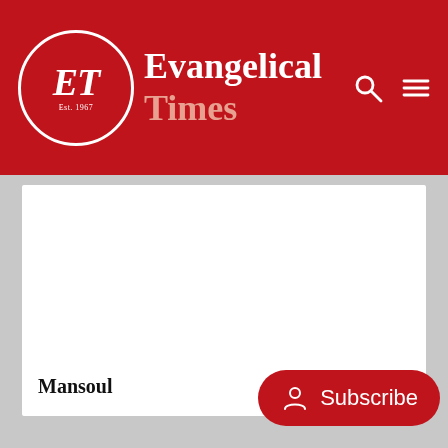Evangelical Times
[Figure (logo): Evangelical Times logo with ET monogram in a white circle and brand name in white and pink]
Mansoul
Subscribe